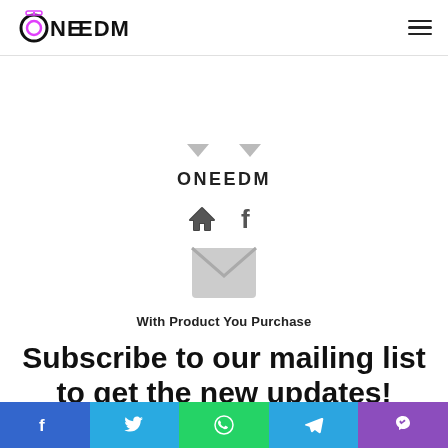ONEEDM - navigation header with hamburger menu
[Figure (logo): OneEDM logo with stylized O and headphone icon, pink/purple accent]
ONEEDM
[Figure (infographic): Home icon and Facebook icon links]
[Figure (infographic): Email envelope icon]
With Product You Purchase
Subscribe to our mailing list to get the new updates!
Lorem ipsum dolor sit amet, consectetur.
Social share bar: Facebook, Twitter, WhatsApp, Telegram, Viber